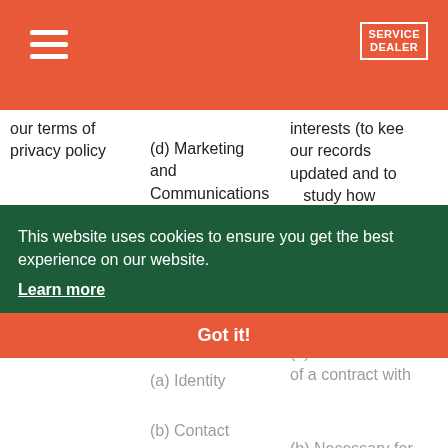SERVICE DEALER
our terms of privacy policy
(d) Marketing and Communications
interests (to keep our records updated and to study how customers use our products/services
(b) Asking you to leave a review or take a survey
(a) Performance of a contract with
(a) Identity
(b) Necessary for our legitimate interests (to study how customers use our
(b) Contact
(c) Profile
To enable you to complete a survey
(d) Usage
This website uses cookies to ensure you get the best experience on our website. Learn more Got it!